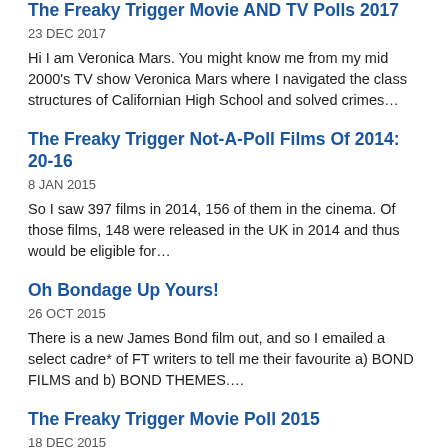The Freaky Trigger Movie AND TV Polls 2017
23 DEC 2017
Hi I am Veronica Mars. You might know me from my mid 2000's TV show Veronica Mars where I navigated the class structures of Californian High School and solved crimes…
The Freaky Trigger Not-A-Poll Films Of 2014: 20-16
8 JAN 2015
So I saw 397 films in 2014, 156 of them in the cinema. Of those films, 148 were released in the UK in 2014 and thus would be eligible for…
Oh Bondage Up Yours!
26 OCT 2015
There is a new James Bond film out, and so I emailed a select cadre* of FT writers to tell me their favourite a) BOND FILMS and b) BOND THEMES….
The Freaky Trigger Movie Poll 2015
18 DEC 2015